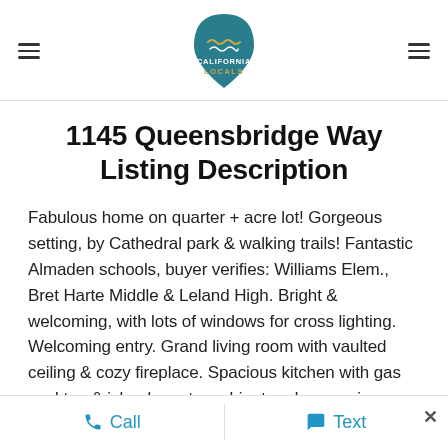California Locals logo with hamburger menus
1145 Queensbridge Way Listing Description
Fabulous home on quarter + acre lot! Gorgeous setting, by Cathedral park & walking trails! Fantastic Almaden schools, buyer verifies: Williams Elem., Bret Harte Middle & Leland High. Bright & welcoming, with lots of windows for cross lighting. Welcoming entry. Grand living room with vaulted ceiling & cozy fireplace. Spacious kitchen with gas cooktop & island, pantry cabinet and expansive dining area. Primary
Call   Text   ×